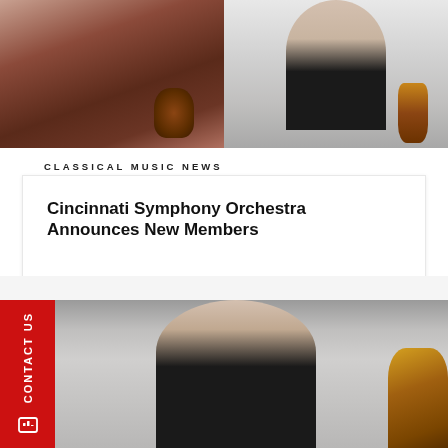[Figure (photo): Two musicians with string instruments — left: woman in dark lace top holding a violin/cello scroll; right: woman in black top with short dark hair holding a violin]
CLASSICAL MUSIC NEWS
Cincinnati Symphony Orchestra Announces New Members
August 31, 2022
[Figure (photo): Man in black suit with beard holding a string instrument, photographed against a neutral background. A large cello/violin scroll visible at the right edge.]